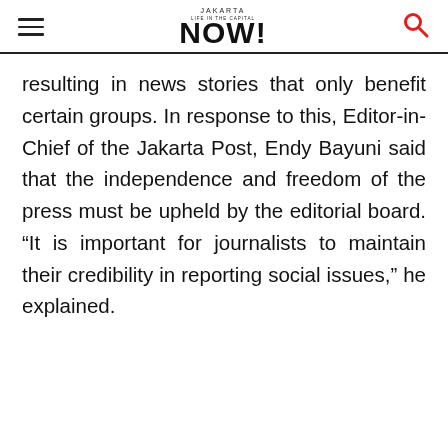Jakarta Now! [logo with hamburger menu and search icon]
resulting in news stories that only benefit certain groups. In response to this, Editor-in-Chief of the Jakarta Post, Endy Bayuni said that the independence and freedom of the press must be upheld by the editorial board. “It is important for journalists to maintain their credibility in reporting social issues,” he explained.